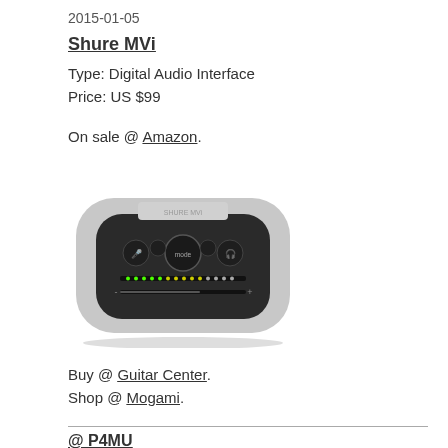2015-01-05
Shure MVi
Type: Digital Audio Interface
Price: US $99
On sale @ Amazon.
[Figure (photo): Photo of the Shure MVi digital audio interface, a compact silver and dark grey device with mode button, control knobs, and LED meter on front panel.]
Buy @ Guitar Center.
Shop @ Mogami.
@ P4MU
Shure SM57